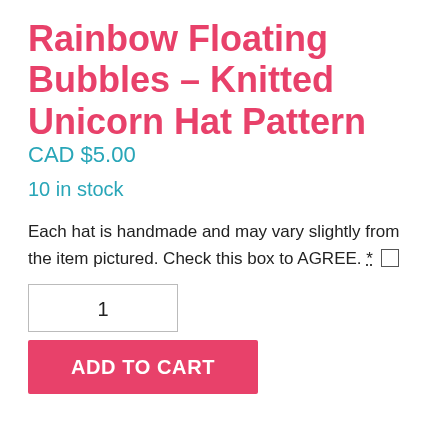Rainbow Floating Bubbles – Knitted Unicorn Hat Pattern
CAD $5.00
10 in stock
Each hat is handmade and may vary slightly from the item pictured. Check this box to AGREE. * ☐
1
ADD TO CART